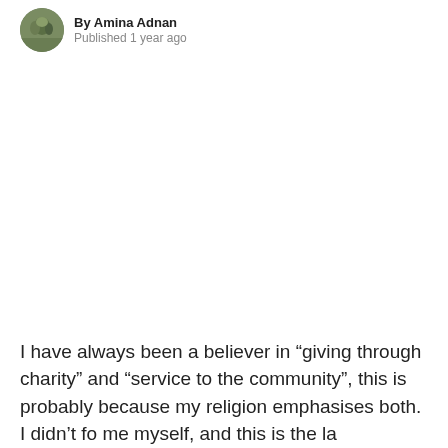By Amina Adnan   Published 1 year ago
I have always been a believer in “giving through charity” and “service to the community”, this is probably because my religion emphasises both. I didn’t fo me myself, and this is the la …